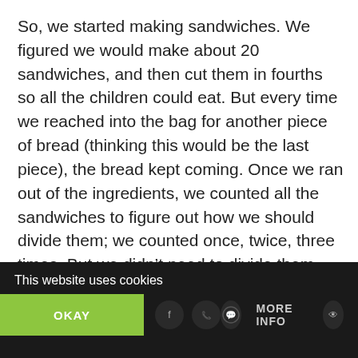So, we started making sandwiches. We figured we would make about 20 sandwiches, and then cut them in fourths so all the children could eat. But every time we reached into the bag for another piece of bread (thinking this would be the last piece), the bread kept coming. Once we ran out of the ingredients, we counted all the sandwiches to figure out how we should divide them; we counted once, twice, three times. But we didn't need to divide them. We were beside ourselves, thinking that it wasn't logically possible that two loaves could have provided this many sandwiches.
This website uses cookies | OKAY | MORE INFO